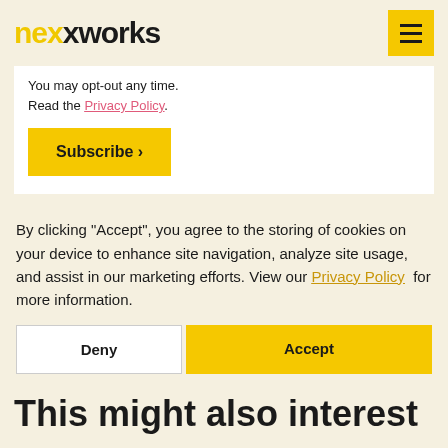nexworks
You may opt-out any time.
Read the Privacy Policy.
Subscribe ›
By clicking “Accept”, you agree to the storing of cookies on your device to enhance site navigation, analyze site usage, and assist in our marketing efforts. View our Privacy Policy  for more information.
Deny
Accept
This might also interest